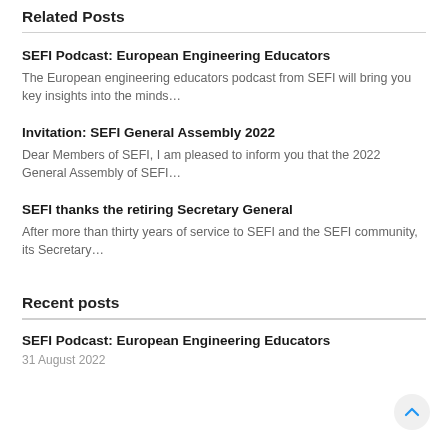Related Posts
SEFI Podcast: European Engineering Educators
The European engineering educators podcast from SEFI will bring you key insights into the minds…
Invitation: SEFI General Assembly 2022
Dear Members of SEFI, I am pleased to inform you that the 2022 General Assembly of SEFI…
SEFI thanks the retiring Secretary General
After more than thirty years of service to SEFI and the SEFI community, its Secretary…
Recent posts
SEFI Podcast: European Engineering Educators
31 August 2022